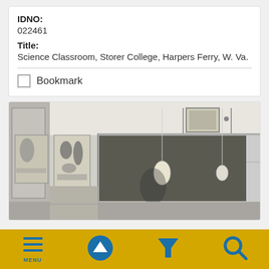IDNO:
022461
Title:
Science Classroom, Storer College, Harpers Ferry, W. Va.
Bookmark
[Figure (photo): Black and white photograph of a science classroom interior at Storer College, Harpers Ferry, W. Va. The room shows a chalkboard, hanging light bulbs, educational wall charts and posters including anatomical/biological diagrams, and cabinets along the walls.]
MENU  [up arrow]  [filter]  [search]